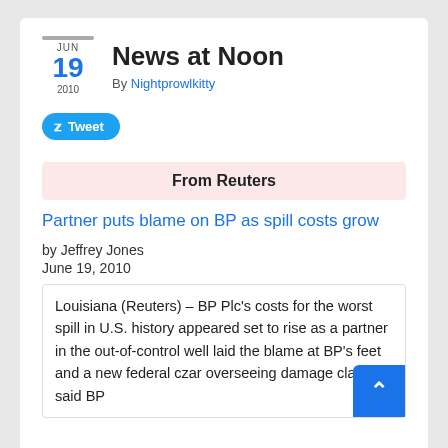JUN 19 2010 — News at Noon — By Nightprowlkitty
News at Noon
By Nightprowlkitty
Tweet
From Reuters
Partner puts blame on BP as spill costs grow
by Jeffrey Jones
June 19, 2010
Louisiana (Reuters) – BP Plc's costs for the worst spill in U.S. history appeared set to rise as a partner in the out-of-control well laid the blame at BP's feet and a new federal czar overseeing damage claims said BP